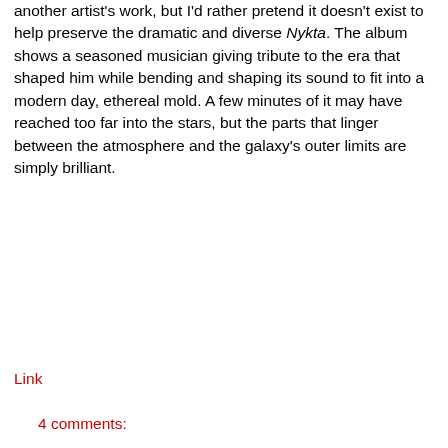another artist's work, but I'd rather pretend it doesn't exist to help preserve the dramatic and diverse Nykta. The album shows a seasoned musician giving tribute to the era that shaped him while bending and shaping its sound to fit into a modern day, ethereal mold. A few minutes of it may have reached too far into the stars, but the parts that linger between the atmosphere and the galaxy's outer limits are simply brilliant.
Link
4 comments: